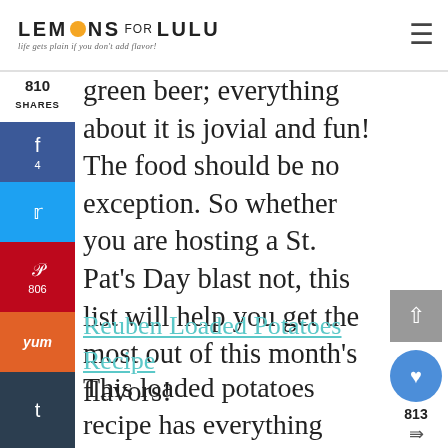LEMONS FOR LULU — life gets plain if you don't add flavor!
green beer; everything about it is jovial and fun! The food should be no exception. So whether you are hosting a St. Pat's Day blast not, this list will help you get the most out of this month's flavors!
810 SHARES
Reuben Loaded Potatoes Recipe
This loaded potatoes recipe has everything found in a classic Reuben sandwich! Potato wedges are cooked